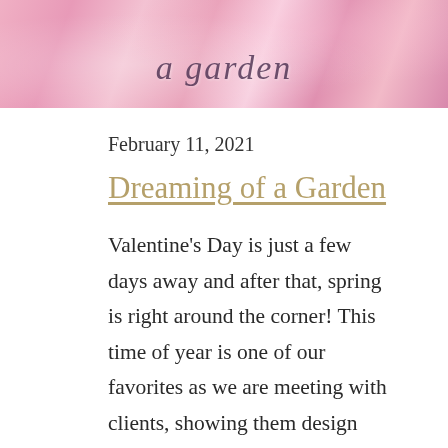[Figure (photo): Pink floral/garden image with cursive script text reading 'a garden' overlaid]
February 11, 2021
Dreaming of a Garden
Valentine's Day is just a few days away and after that, spring is right around the corner! This time of year is one of our favorites as we are meeting with clients, showing them design proposals and planning out the season ahead. When thinking about springtime, we usually think of flowers and gardens. If